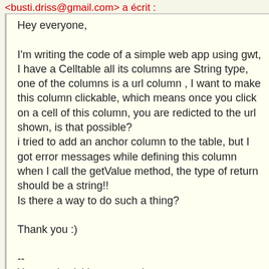<busti.driss@gmail.com> a écrit :
Hey everyone,

I'm writing the code of a simple web app using gwt, I have a Celltable all its columns are String type,
one of the columns is a url column , I want to make this column clickable, which means once you click on a cell of this column, you are redicted to the url shown, is that possible?
i tried to add an anchor column to the table, but I got error messages while defining this column when I call the getValue method, the type of return should be a string!!
Is there a way to do such a thing?

Thank you :)

--
You received this message because you are subscribed to the Google Groups "GWT Users" group.
To unsubscribe from this group and stop receiving emails from it, send an email to google-web-toolkit+unsubscribe@googlegroups.com.
To post to this group, send email to google-web-
To post to this group, send email to google-web-